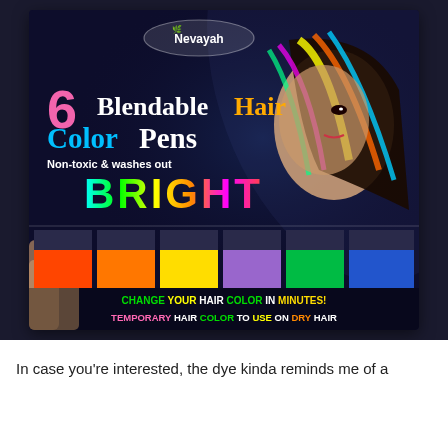[Figure (photo): A hand holding a box of Nevayah 6 Blendable Hair Color Pens product. The box has a dark background with a woman with colorful streaked hair on the right. The box shows 6 colored pens (orange, red/orange, yellow, purple, green, blue) and text reading 'Non-toxic & washes out', 'BRIGHT', 'CHANGE YOUR HAIR COLOR IN MINUTES!', 'TEMPORARY HAIR COLOR TO USE ON DRY HAIR'.]
In case you're interested, the dye kinda reminds me of a